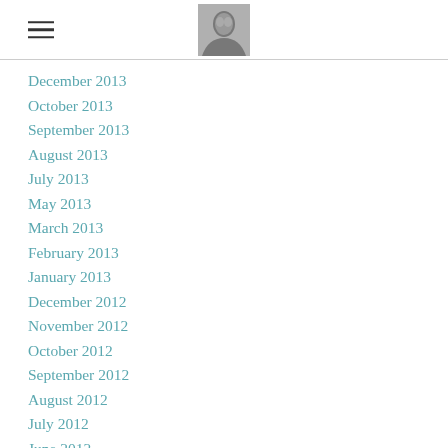Navigation header with hamburger menu and avatar photo
December 2013
October 2013
September 2013
August 2013
July 2013
May 2013
March 2013
February 2013
January 2013
December 2012
November 2012
October 2012
September 2012
August 2012
July 2012
June 2012
May 2012